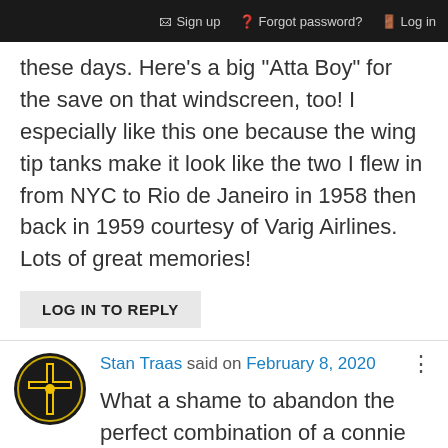Sign up   Forgot password?   Log in
these days. Here's a big "Atta Boy" for the save on that windscreen, too! I especially like this one because the wing tip tanks make it look like the two I flew in from NYC to Rio de Janeiro in 1958 then back in 1959 courtesy of Varig Airlines. Lots of great memories!
LOG IN TO REPLY
Stan Traas said on February 8, 2020
What a shame to abandon the perfect combination of a connie and the red & white